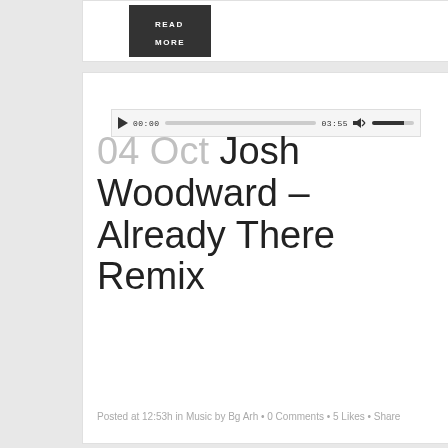[Figure (screenshot): READ MORE button - dark background with white uppercase text]
[Figure (screenshot): Audio player widget showing play button, time 00:00, progress bar, total time 03:55, volume icon and volume bar]
04 Oct Josh Woodward – Already There Remix
Posted at 12:53h in Music by Bg Arh • 0 Comments • 5 Likes • Share